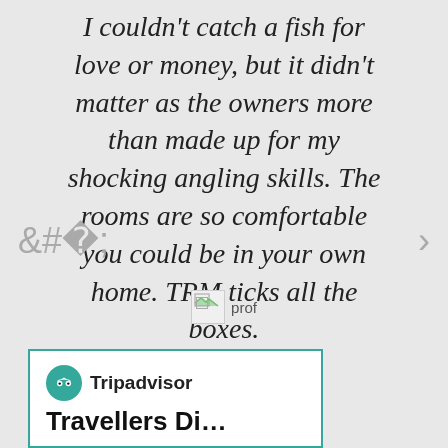I couldn't catch a fish for love or money, but it didn't matter as the owners more than made up for my shocking angling skills. The rooms are so comfortable you could be in your own home. TRM ticks all the boxes.
[Figure (photo): Broken profile image thumbnail with label 'prof']
[Figure (infographic): Carousel dot indicators: 6 dots, first filled/dark, rest light gray]
[Figure (logo): Tripadvisor logo with owl icon and brand name, inside a teal-bordered white box. Below the logo text reads 'Travellers Di...']